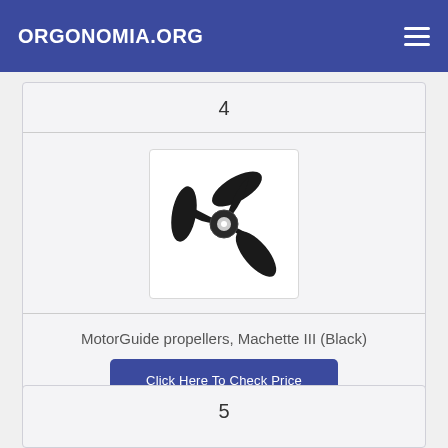ORGONOMIA.ORG
4
[Figure (photo): Black 3-blade marine propeller (MotorGuide Machette III) on white background]
MotorGuide propellers, Machette III (Black)
Click Here To Check Price
5